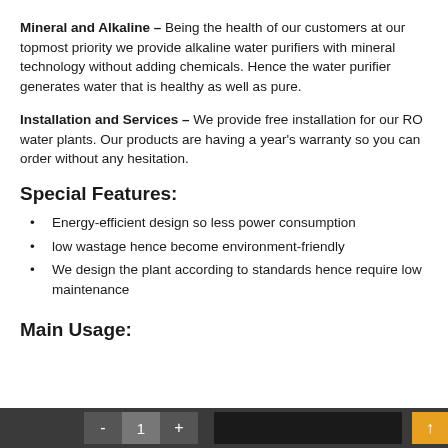Mineral and Alkaline – Being the health of our customers at our topmost priority we provide alkaline water purifiers with mineral technology without adding chemicals. Hence the water purifier generates water that is healthy as well as pure.
Installation and Services – We provide free installation for our RO water plants. Our products are having a year's warranty so you can order without any hesitation.
Special Features:
Energy-efficient design so less power consumption
low wastage hence become environment-friendly
We design the plant according to standards hence require low maintenance
Main Usage: